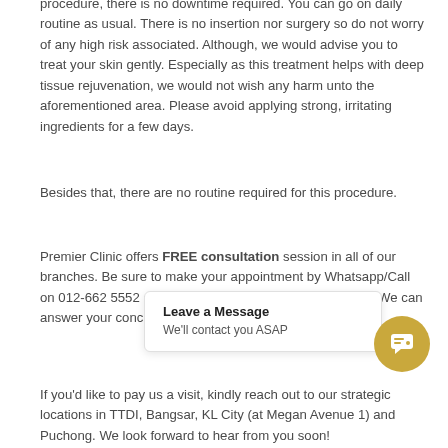procedure, there is no downtime required. You can go on daily routine as usual. There is no insertion nor surgery so do not worry of any high risk associated. Although, we would advise you to treat your skin gently. Especially as this treatment helps with deep tissue rejuvenation, we would not wish any harm unto the aforementioned area. Please avoid applying strong, irritating ingredients for a few days.
Besides that, there are no routine required for this procedure.
Premier Clinic offers FREE consultation session in all of our branches. Be sure to make your appointment by Whatsapp/Call on 012-662 5552 or email contactus@premier-clinic.com. We can answer your concerns regarding the anti-aging treatments.
[Figure (other): Chat popup widget with text 'Leave a Message' and 'We'll contact you ASAP', alongside a gold circular chat icon with speech bubble icon.]
If you'd like to pay us a visit, kindly reach out to our strategic locations in TTDI, Bangsar, KL City (at Megan Avenue 1) and Puchong. We look forward to hear from you soon!